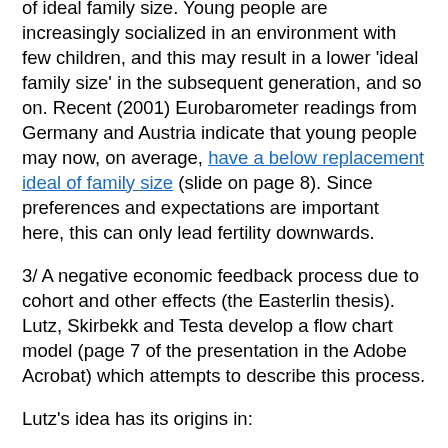of ideal family size. Young people are increasingly socialized in an environment with few children, and this may result in a lower 'ideal family size' in the subsequent generation, and so on. Recent (2001) Eurobarometer readings from Germany and Austria indicate that young people may now, on average, have a below replacement ideal of family size (slide on page 8). Since preferences and expectations are important here, this can only lead fertility downwards.
3/ A negative economic feedback process due to cohort and other effects (the Easterlin thesis). Lutz, Skirbekk and Testa develop a flow chart model (page 7 of the presentation in the Adobe Acrobat) which attempts to describe this process.
Lutz's idea has its origins in:
(a) the observation that countries which have fallen below fertility his critical level of 1.5 TFR have generally not subsequently 'recovered' in the sense of returning to a level above 1.5. In particular the germ of the idea here comes from the work of the Australian demographer Peter MacDonald (see this paper) who was the first to note that 1.5